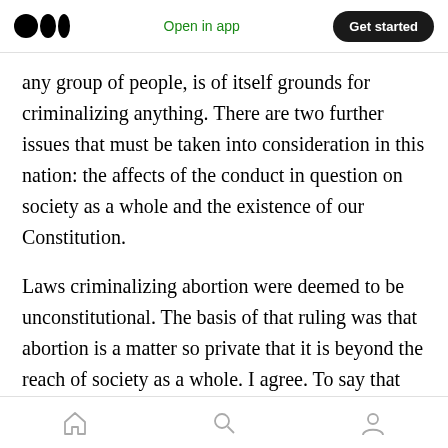Medium logo | Open in app | Get started
any group of people, is of itself grounds for criminalizing anything. There are two further issues that must be taken into consideration in this nation: the affects of the conduct in question on society as a whole and the existence of our Constitution.
Laws criminalizing abortion were deemed to be unconstitutional. The basis of that ruling was that abortion is a matter so private that it is beyond the reach of society as a whole. I agree. To say that society should have a say on whether a woman may have an abortion is to abandon
Home | Search | Profile